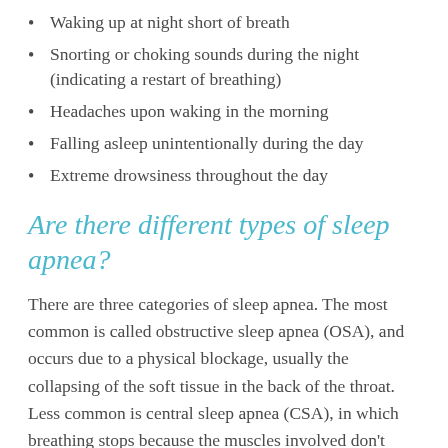Waking up at night short of breath
Snorting or choking sounds during the night (indicating a restart of breathing)
Headaches upon waking in the morning
Falling asleep unintentionally during the day
Extreme drowsiness throughout the day
Are there different types of sleep apnea?
There are three categories of sleep apnea. The most common is called obstructive sleep apnea (OSA), and occurs due to a physical blockage, usually the collapsing of the soft tissue in the back of the throat. Less common is central sleep apnea (CSA), in which breathing stops because the muscles involved don't